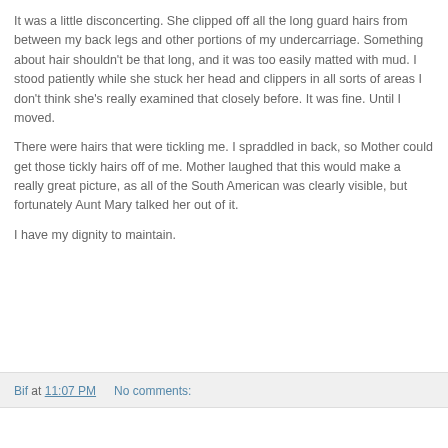It was a little disconcerting. She clipped off all the long guard hairs from between my back legs and other portions of my undercarriage. Something about hair shouldn't be that long, and it was too easily matted with mud. I stood patiently while she stuck her head and clippers in all sorts of areas I don't think she's really examined that closely before. It was fine. Until I moved.
There were hairs that were tickling me. I spraddled in back, so Mother could get those tickly hairs off of me. Mother laughed that this would make a really great picture, as all of the South American was clearly visible, but fortunately Aunt Mary talked her out of it.
I have my dignity to maintain.
Bif at 11:07 PM   No comments: